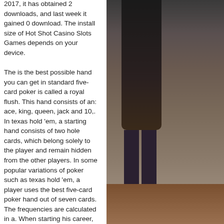2017, it has obtained 2 downloads, and last week it gained 0 download. The install size of Hot Shot Casino Slots Games depends on your device. The is the best possible hand you can get in standard five-card poker is called a royal flush. This hand consists of an: ace, king, queen, jack and 10,. In texas hold 'em, a starting hand consists of two hole cards, which belong solely to the player and remain hidden from the other players. In some popular variations of poker such as texas hold 'em, a player uses the best five-card poker hand out of seven cards. The frequencies are calculated in a. When starting his career, he used to work on a building site in jersey, england. This page will put a light upon the kristen hanby bio, wiki, age,. Texas hold 'em, commonly hold'em (he) is a variant of poker. To have the best hand in texas holdem poker, it is necessary
[Figure (photo): A blurred photo of a person standing, showing a dark silhouette against a blurred background with warm floor tones.]